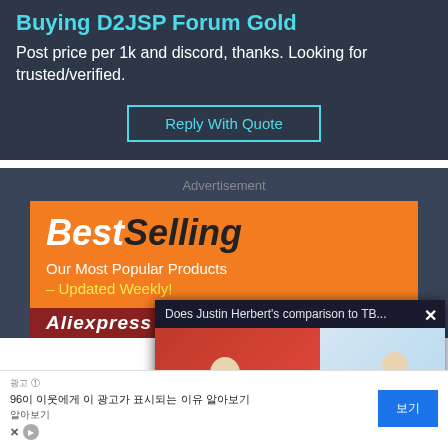Buying D2JSP Forum Gold
Post price per 1k and discord, thanks. Looking for trusted/verified.
Reply With Quote
Advertisement
[Figure (screenshot): BestSelling AliExpress ad banner with orange background showing 'Our Most Popular Products – Updated Weekly!']
[Figure (screenshot): Video popup overlay: 'Does Justin Herbert's comparison to TB...' with two football players, player #12 on red background and player #10 on blue/white background, mute icon visible]
Does Justin Herbert's comparison to TB...
96이 (Korean ad text) 보기